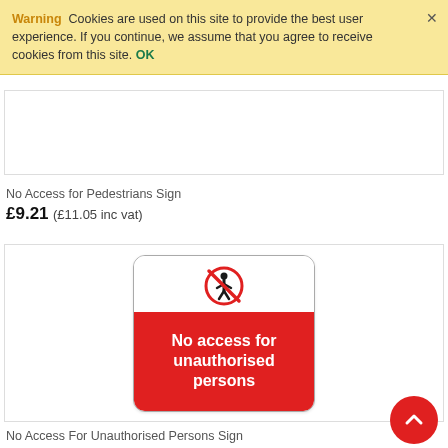Warning  Cookies are used on this site to provide the best user experience. If you continue, we assume that you agree to receive cookies from this site. OK
[Figure (illustration): No Access for Pedestrians sign - partially visible at top, showing 'pedestrians' text on a rounded rectangular outline button]
No Access for Pedestrians Sign
£9.21 (£11.05 inc vat)
[Figure (photo): No Access For Unauthorised Persons Sign - white rounded rectangle sign with a prohibition pedestrian symbol (person with red circle and line through it) at top, and red rectangle below with white bold text reading 'No access for unauthorised persons']
No Access For Unauthorised Persons Sign
£9.21 (£11.05 inc vat)